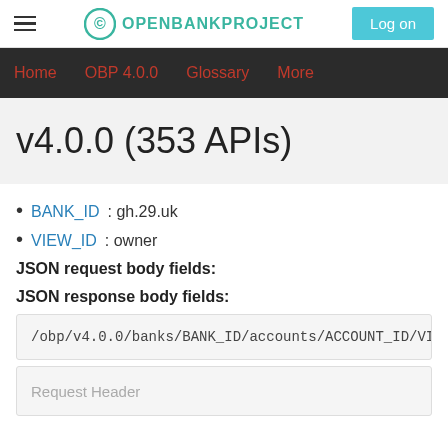OPENBANKPROJECT | Log on
Home   OBP 4.0.0   Glossary   More
v4.0.0 (353 APIs)
BANK_ID: gh.29.uk
VIEW_ID: owner
JSON request body fields:
JSON response body fields:
/obp/v4.0.0/banks/BANK_ID/accounts/ACCOUNT_ID/VIEW
Request Header